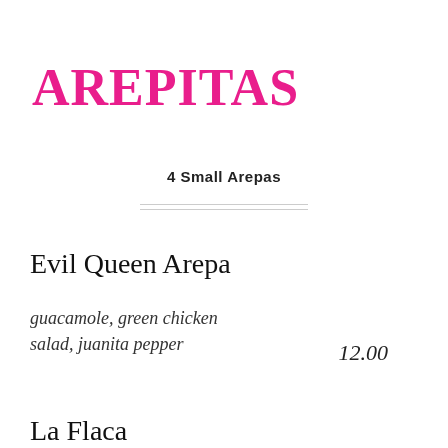AREPITAS
4 Small Arepas
Evil Queen Arepa
guacamole, green chicken salad, juanita pepper
12.00
La Flaca